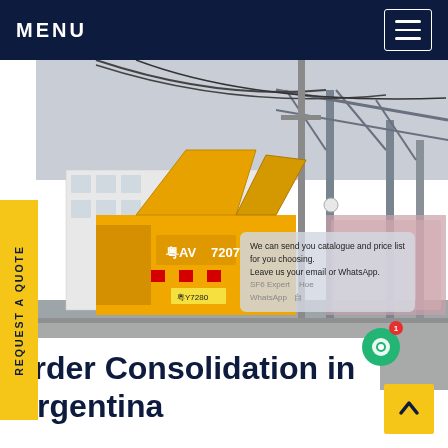MENU
[Figure (photo): Yellow utility truck with open cargo panels at an industrial facility or power substation with steel framework and cables in background. SF6China watermark in orange at bottom right.]
REQUEST A QUOTE
We can send you catalogue and price list for you choosing. Leave us your email or WhatsApp. SF6 Expert  Hoe   WhatsApp 自
order Consolidation in Argentina